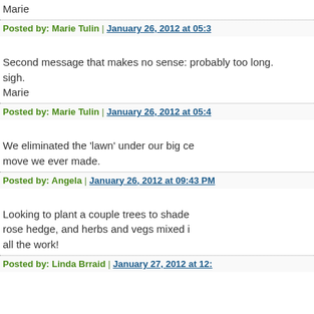Marie
Posted by: Marie Tulin | January 26, 2012 at 05:3...
Second message that makes no sense: probably too long.
sigh.
Marie
Posted by: Marie Tulin | January 26, 2012 at 05:4...
We eliminated the 'lawn' under our big ce... move we ever made.
Posted by: Angela | January 26, 2012 at 09:43 PM...
Looking to plant a couple trees to shade... rose hedge, and herbs and vegs mixed i... all the work!
Posted by: Linda Brraid | January 27, 2012 at 12:...